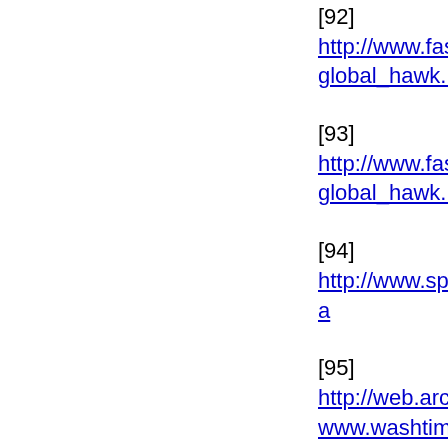[92] http://www.fas.org...global_hawk.htm
[93] http://www.fas.org...global_hawk.htm
[94] http://www.spaced...
[95] http://web.archive....www.washtimes.com/na...90259475.htm
[96] http://www.washin...pagename=article&cont...2004Feb10&notFound=
[97] http://complete911...timeline=complete_911...=dayOf911
[98] http://www.cooper...id=1521846767-1683
[99] http://complete911...day_of_9/11=dayOf91...